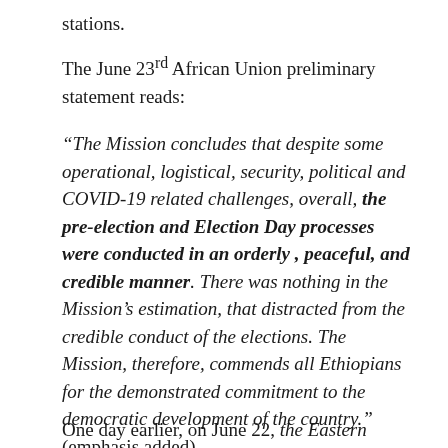stations.
The June 23rd African Union preliminary statement reads:
“The Mission concludes that despite some operational, logistical, security, political and COVID-19 related challenges, overall, the pre-election and Election Day processes were conducted in an orderly , peaceful, and credible manner. There was nothing in the Mission’s estimation, that distracted from the credible conduct of the elections. The Mission, therefore, commends all Ethiopians for the demonstrated commitment to the democratic development of the country.” (emphasis added)
One day earlier, on June 22, the Eastern Africa